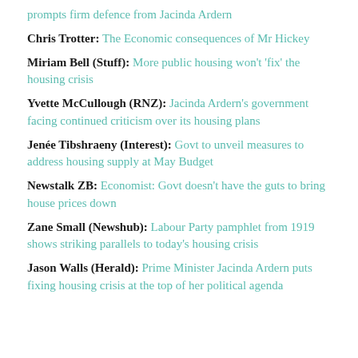prompts firm defence from Jacinda Ardern
Chris Trotter: The Economic consequences of Mr Hickey
Miriam Bell (Stuff): More public housing won't 'fix' the housing crisis
Yvette McCullough (RNZ): Jacinda Ardern's government facing continued criticism over its housing plans
Jenée Tibshraeny (Interest): Govt to unveil measures to address housing supply at May Budget
Newstalk ZB: Economist: Govt doesn't have the guts to bring house prices down
Zane Small (Newshub): Labour Party pamphlet from 1919 shows striking parallels to today's housing crisis
Jason Walls (Herald): Prime Minister Jacinda Ardern puts fixing housing crisis at the top of her political agenda